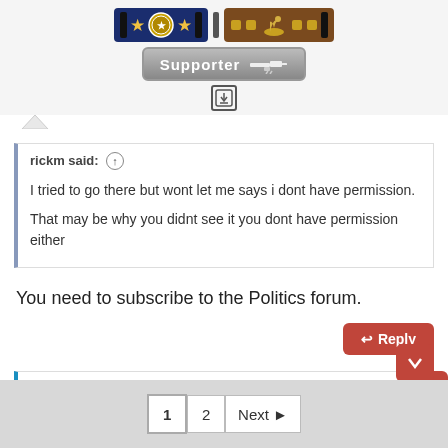[Figure (illustration): Blue badge bar with gold stars and black stripes, and a brown badge bar with gold blocks and a bird icon, placed side by side.]
[Figure (illustration): A gray 'Supporter' button with a white rifle icon on the right.]
[Figure (illustration): A small download icon (box with downward arrow).]
rickm said: ↑

I tried to go there but wont let me says i dont have permission.

That may be why you didnt see it you dont have permission either
You need to subscribe to the Politics forum.
[Figure (illustration): Reply button (red/brown rounded rectangle with reply arrow and 'Reply' text).]
Gadsden
1  2  Next ▶